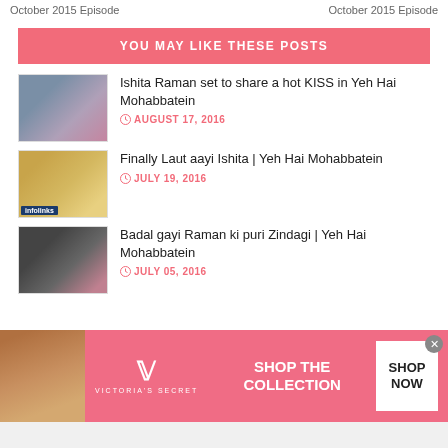October 2015 Episode    October 2015 Episode
YOU MAY LIKE THESE POSTS
[Figure (photo): Thumbnail of Ishita and Raman from Yeh Hai Mohabbatein]
Ishita Raman set to share a hot KISS in Yeh Hai Mohabbatein
AUGUST 17, 2016
[Figure (photo): Thumbnail of Ishita dressed in bridal/festive attire]
Finally Laut aayi Ishita | Yeh Hai Mohabbatein
JULY 19, 2016
[Figure (photo): Thumbnail of Raman in dark setting]
Badal gayi Raman ki puri Zindagi | Yeh Hai Mohabbatein
JULY 05, 2016
[Figure (photo): Victoria's Secret advertisement banner with model face, VS logo, SHOP THE COLLECTION, and SHOP NOW button]